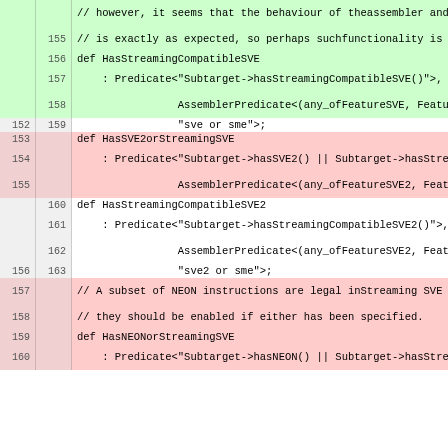[Figure (screenshot): Code diff view showing added (green) and removed (red) lines of C++ code defining streaming SVE predicate functions, with old line numbers on left gutter and new line numbers on right gutter.]